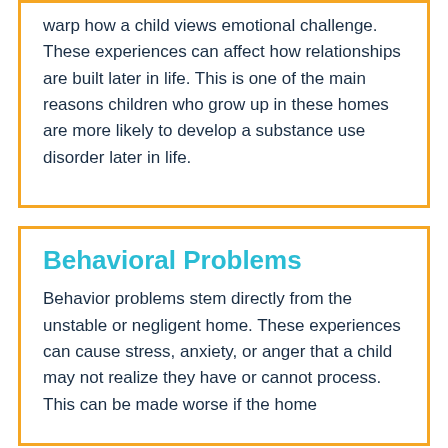warp how a child views emotional challenge. These experiences can affect how relationships are built later in life. This is one of the main reasons children who grow up in these homes are more likely to develop a substance use disorder later in life.
Behavioral Problems
Behavior problems stem directly from the unstable or negligent home. These experiences can cause stress, anxiety, or anger that a child may not realize they have or cannot process. This can be made worse if the home